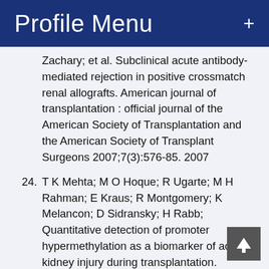Profile Menu +
Zachary; et al. Subclinical acute antibody-mediated rejection in positive crossmatch renal allografts. American journal of transplantation : official journal of the American Society of Transplantation and the American Society of Transplant Surgeons 2007;7(3):576-85. 2007
24. T K Mehta; M O Hoque; R Ugarte; M H Rahman; E Kraus; R Montgomery; K Melancon; D Sidransky; H Rabb; Quantitative detection of promoter hypermethylation as a biomarker of acute kidney injury during transplantation. Transplantation